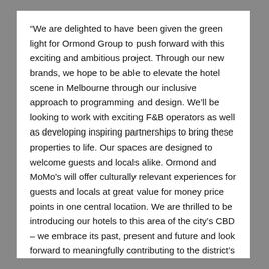“We are delighted to have been given the green light for Ormond Group to push forward with this exciting and ambitious project. Through our new brands, we hope to be able to elevate the hotel scene in Melbourne through our inclusive approach to programming and design. We’ll be looking to work with exciting F&B operators as well as developing inspiring partnerships to bring these properties to life. Our spaces are designed to welcome guests and locals alike. Ormond and MoMo's will offer culturally relevant experiences for guests and locals at great value for money price points in one central location. We are thrilled to be introducing our hotels to this area of the city’s CBD – we embrace its past, present and future and look forward to meaningfully contributing to the district's landscape. We feel confident that Melbourne’s already discerning lifestyle audience will enjoy what we bring to Australia’s cultural capital.” says Gareth Lim, CEO of Ormond Group.
Through its approach to delivering authentic travel